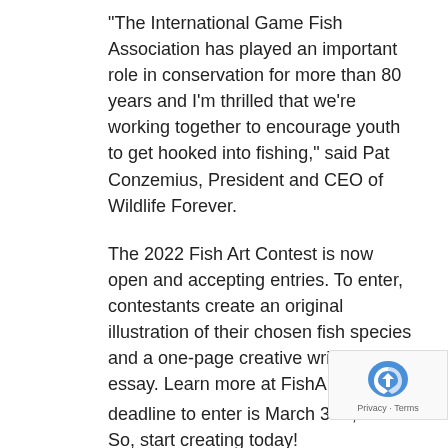“The International Game Fish Association has played an important role in conservation for more than 80 years and I’m thrilled that we’re working together to encourage youth to get hooked into fishing,” said Pat Conzemius, President and CEO of Wildlife Forever.
The 2022 Fish Art Contest is now open and accepting entries. To enter, contestants create an original illustration of their chosen fish species and a one-page creative writing essay. Learn more at FishArt.org. The deadline to enter is March 31st, 2022. So, start creating today!
The Art of Conservation®: The Art of Conservation is an internationally recognized program connecting youth to nature and science through art and self-discovery. The Fish Art Contest® and Songbird Art Contest™ divisions are extension programs that
[Figure (logo): reCAPTCHA badge with Privacy and Terms links]